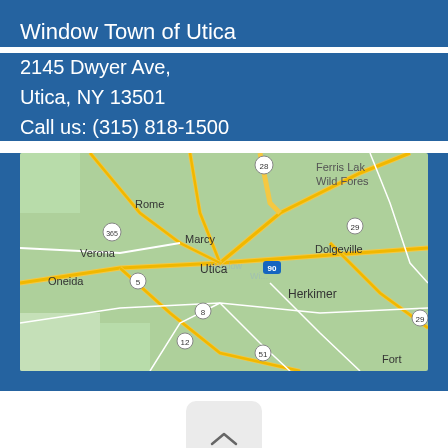Window Town of Utica
2145 Dwyer Ave,
Utica, NY 13501
Call us: (315) 818-1500
[Figure (map): Google Maps screenshot showing the Utica, NY area including Rome, Marcy, Verona, Oneida, Utica, Dolgeville, Herkimer, and Fort. Roads and highways including 28, 365, 5, 90, 8, 12, 51, 29 are visible.]
[Figure (other): Back-to-top button with upward chevron arrow on light gray rounded square background]
Privacy Policy
© Window Town LLC; All rights reserved.